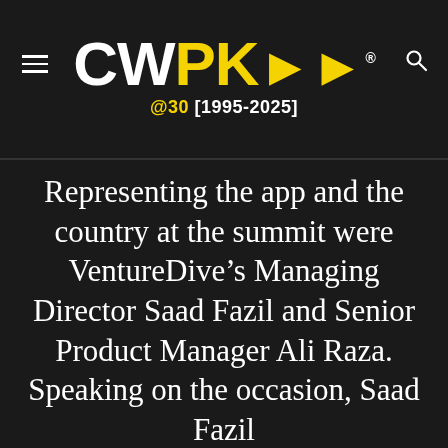CWPK>> @30 [1995-2025]
Representing the app and the country at the summit were VentureDive’s Managing Director Saad Fazil and Senior Product Manager Ali Raza. Speaking on the occasion, Saad Fazil